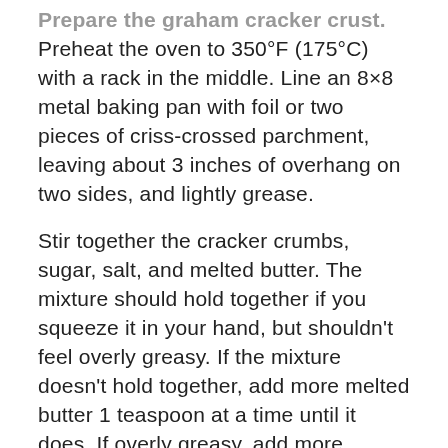Prepare the graham cracker crust. Preheat the oven to 350°F (175°C) with a rack in the middle. Line an 8×8 metal baking pan with foil or two pieces of criss-crossed parchment, leaving about 3 inches of overhang on two sides, and lightly grease.
Stir together the cracker crumbs, sugar, salt, and melted butter. The mixture should hold together if you squeeze it in your hand, but shouldn't feel overly greasy. If the mixture doesn't hold together, add more melted butter 1 teaspoon at a time until it does. If overly greasy, add more cracker crumbs, 1 teaspoon at a time, until you get the right texture.
Press the crumbs evenly into the bottom of...